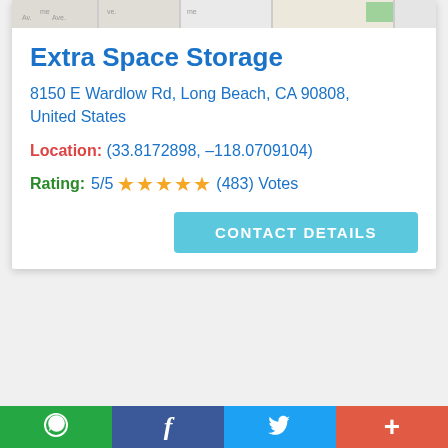[Figure (screenshot): Partial map strip at top of card showing street map tiles]
Extra Space Storage
8150 E Wardlow Rd, Long Beach, CA 90808, United States
Location: (33.8172898, –118.0709104)
Rating: 5/5 ★★★★★ (483) Votes
CONTACT DETAILS